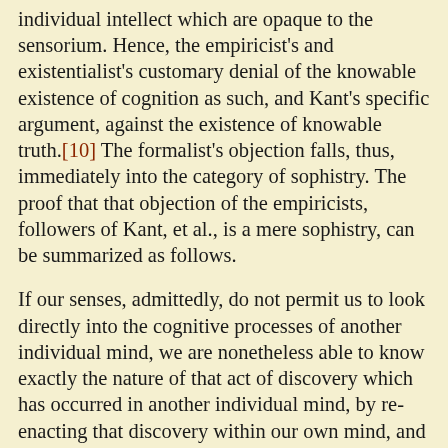individual intellect which are opaque to the sensorium. Hence, the empiricist's and existentialist's customary denial of the knowable existence of cognition as such, and Kant's specific argument, against the existence of knowable truth.[10] The formalist's objection falls, thus, immediately into the category of sophistry. The proof that that objection of the empiricists, followers of Kant, et al., is a mere sophistry, can be summarized as follows.
If our senses, admittedly, do not permit us to look directly into the cognitive processes of another individual mind, we are nonetheless able to know exactly the nature of that act of discovery which has occurred in another individual mind, by re-enacting that discovery within our own mind, and by our sharing of the experimental proof of that principle so discovered. All competent scientific and related education is based entirely on that method of practice. This is the proper clinical significance and usage of the term insight.
Good teaching, for example, provokes the pupil into replicating the original act of discovery, as this act occurred within the sovereign cognitive powers of an